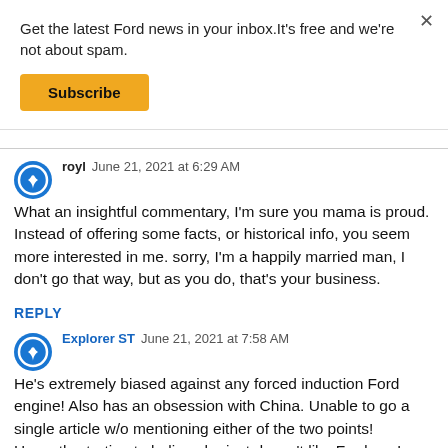Get the latest Ford news in your inbox.It's free and we're not about spam.
Subscribe
royl  June 21, 2021 at 6:29 AM
What an insightful commentary, I'm sure you mama is proud. Instead of offering some facts, or historical info, you seem more interested in me. sorry, I'm a happily married man, I don't go that way, but as you do, that's your business.
REPLY
Explorer ST  June 21, 2021 at 7:58 AM
He's extremely biased against any forced induction Ford engine! Also has an obsession with China. Unable to go a single article w/o mentioning either of the two points! Honestly starting to believe he just doesn't like Ford, as I have literally